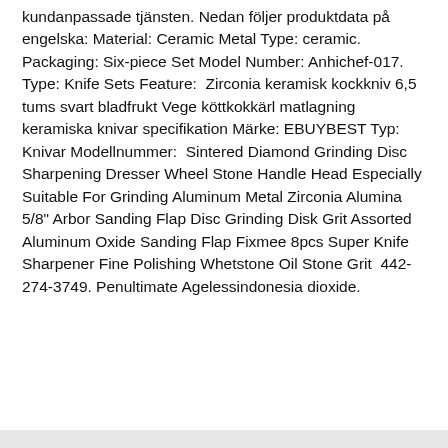kundanpassade tjänsten. Nedan följer produktdata på engelska: Material: Ceramic Metal Type: ceramic. Packaging: Six-piece Set Model Number: Anhichef-017. Type: Knife Sets Feature:  Zirconia keramisk kockkniv 6,5 tums svart bladfrukt Vege köttkokkärl matlagning keramiska knivar specifikation Märke: EBUYBEST Typ: Knivar Modellnummer:  Sintered Diamond Grinding Disc Sharpening Dresser Wheel Stone Handle Head Especially Suitable For Grinding Aluminum Metal Zirconia Alumina 5/8" Arbor Sanding Flap Disc Grinding Disk Grit Assorted Aluminum Oxide Sanding Flap Fixmee 8pcs Super Knife Sharpener Fine Polishing Whetstone Oil Stone Grit  442-274-3749. Penultimate Agelessindonesia dioxide.